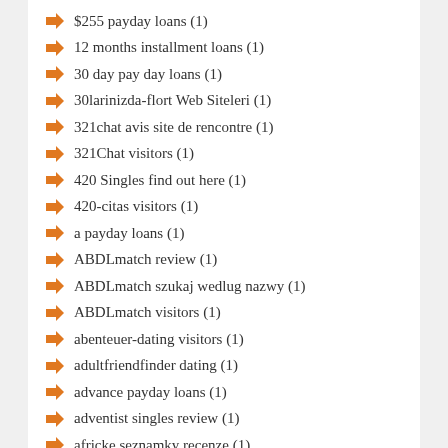$255 payday loans (1)
12 months installment loans (1)
30 day pay day loans (1)
30larinizda-flort Web Siteleri (1)
321chat avis site de rencontre (1)
321Chat visitors (1)
420 Singles find out here (1)
420-citas visitors (1)
a payday loans (1)
ABDLmatch review (1)
ABDLmatch szukaj wedlug nazwy (1)
ABDLmatch visitors (1)
abenteuer-dating visitors (1)
adultfriendfinder dating (1)
advance payday loans (1)
adventist singles review (1)
africke seznamky recenze (1)
afrointroductions review (1)
afrointroductions visitors (2)